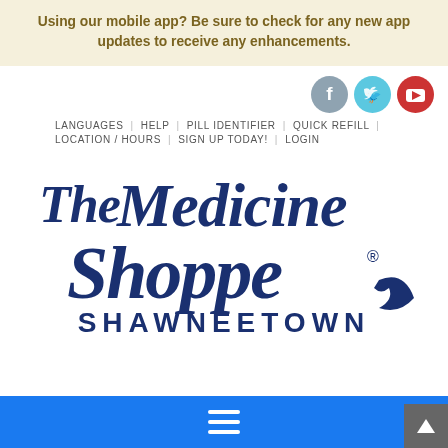Using our mobile app? Be sure to check for any new app updates to receive any enhancements.
[Figure (logo): Social media icons: Facebook (gray), Twitter (cyan), YouTube (red)]
LANGUAGES | HELP | PILL IDENTIFIER | QUICK REFILL | LOCATION / HOURS | SIGN UP TODAY! | LOGIN
[Figure (logo): The Medicine Shoppe Shawneetown pharmacy logo in dark navy blue]
[Figure (other): Blue navigation bar with hamburger menu icon and back-to-top arrow button]